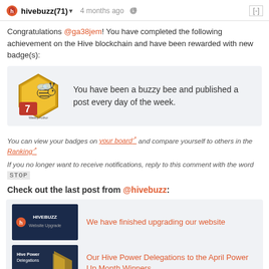hivebuzz (71) ▾  4 months ago  🔗  [-]
Congratulations @ga38jem! You have completed the following achievement on the Hive blockchain and have been rewarded with new badge(s):
[Figure (illustration): Weekly Author badge: gold hexagon with bee and number 7]
You have been a buzzy bee and published a post every day of the week.
You can view your badges on your board and compare yourself to others in the Ranking
If you no longer want to receive notifications, reply to this comment with the word STOP
Check out the last post from @hivebuzz:
[Figure (screenshot): HiveBuzz Website Upgrade thumbnail]
We have finished upgrading our website
[Figure (screenshot): Hive Power Delegations thumbnail]
Our Hive Power Delegations to the April Power Up Month Winners
Support the HiveBuzz project. Vote for our proposal!
$ 0.00    Reply